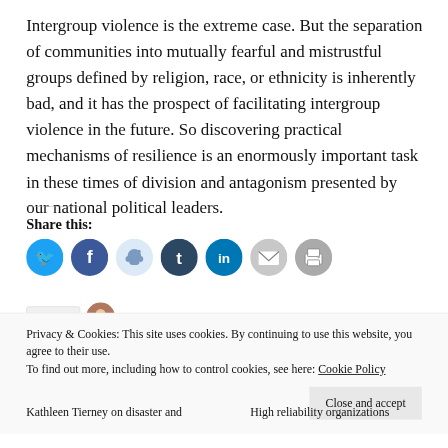Intergroup violence is the extreme case. But the separation of communities into mutually fearful and mistrustful groups defined by religion, race, or ethnicity is inherently bad, and it has the prospect of facilitating intergroup violence in the future. So discovering practical mechanisms of resilience is an enormously important task in these times of division and antagonism presented by our national political leaders.
Share this:
[Figure (infographic): Row of social sharing icon buttons: Twitter (blue), Facebook (blue), Reddit (light blue), Tumblr (dark blue), LinkedIn (blue), Email (gray), Print (gray)]
[Figure (other): Like button and avatar image (partially visible)]
Privacy & Cookies: This site uses cookies. By continuing to use this website, you agree to their use.
To find out more, including how to control cookies, see here: Cookie Policy
Close and accept
Kathleen Tierney on disaster and
High reliability organizations